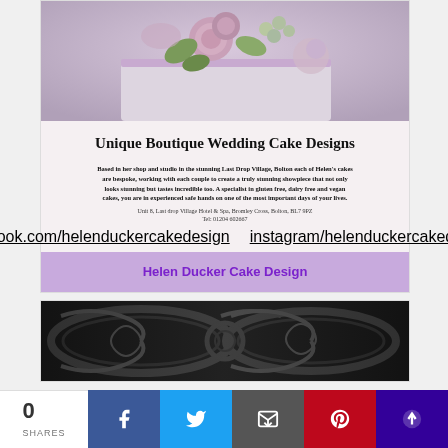[Figure (photo): Close-up photo of a wedding cake with decorative sugar flowers including roses, hydrangeas, berries and leaves in pink, lavender and green tones]
Unique Boutique Wedding Cake Designs
Based in her shop and studio in the stunning Last Drop Village, Bolton each of Helen's cakes are bespoke, working with each couple to create a truly stunning showpiece that not only looks stunning but tastes incredible too. A specialist in gluten free, dairy free and vegan cakes, you are in experienced safe hands on one of the most important days of your lives.
Unit 8, Last drop Village Hotel & Spa, Bromley Cross, Bolton, BL7 9PZ
Tel: 01204 602667
facebook.com/helenduckercakedesign    instagram/helenduckercakedesign
Helen Ducker Cake Design
[Figure (photo): Black and white photo of ornate decorative frames or mirrors]
0
SHARES